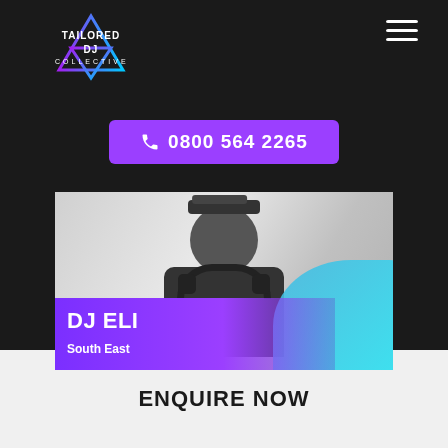[Figure (logo): Tailored DJ Collective logo with downward-pointing triangle in purple/cyan gradient and text TAILORED DJ COLLECTIVE]
[Figure (infographic): Purple phone button with handset icon and number 0800 564 2265]
[Figure (photo): Black and white photo of DJ Eli wearing headphones around neck, with purple gradient overlay showing name DJ ELI and location South East, with teal accent shape]
ENQUIRE NOW